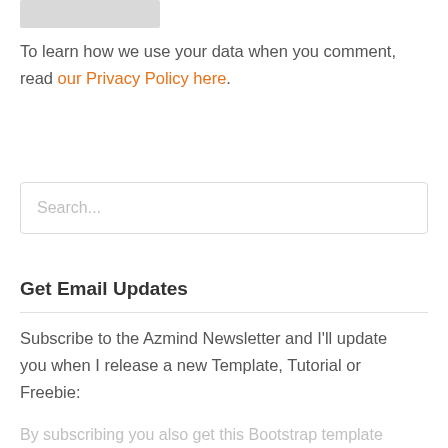[Figure (other): Gray placeholder rectangle at top]
To learn how we use your data when you comment, read our Privacy Policy here.
Search...
Get Email Updates
Subscribe to the Azmind Newsletter and I'll update you when I release a new Template, Tutorial or Freebie:
By subscribing you also get this Bootstrap template